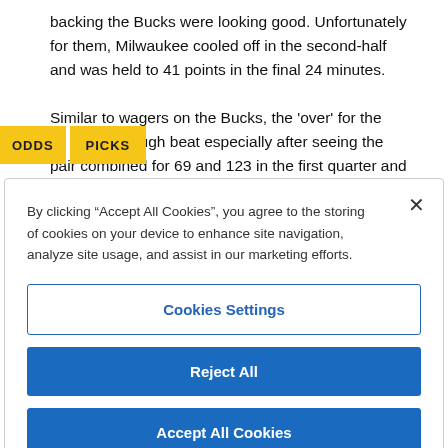backing the Bucks were looking good. Unfortunately for them, Milwaukee cooled off in the second-half and was held to 41 points in the final 24 minutes.
Similar to wagers on the Bucks, the 'over' for the g s a tough beat especially after seeing the pair combined for 69 and 123 in the first quarter and half respectively.
By clicking “Accept All Cookies”, you agree to the storing of cookies on your device to enhance site navigation, analyze site usage, and assist in our marketing efforts.
Cookies Settings
Reject All
Accept All Cookies